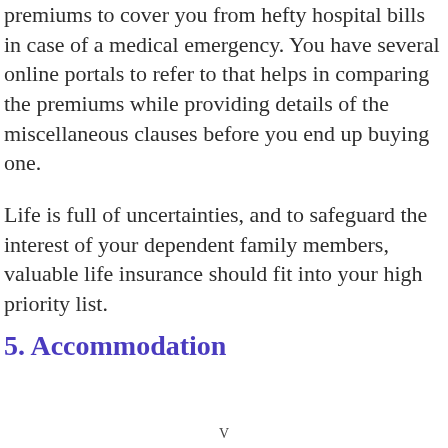premiums to cover you from hefty hospital bills in case of a medical emergency. You have several online portals to refer to that helps in comparing the premiums while providing details of the miscellaneous clauses before you end up buying one.
Life is full of uncertainties, and to safeguard the interest of your dependent family members, valuable life insurance should fit into your high priority list.
5. Accommodation
V